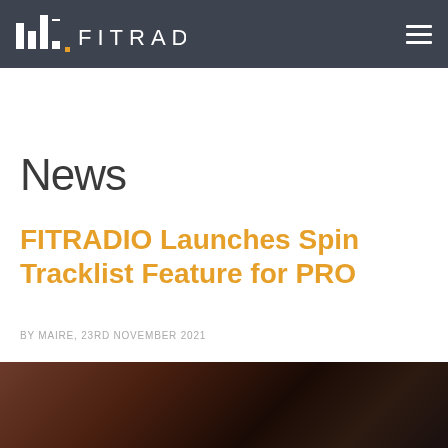FITRADIO
News
FITRADIO Launches Spin Tracklist Feature for PRO
BY MAIRE, 23RD NOVEMBER 2021
[Figure (photo): Close-up blurred photo of a person exercising, warm brown and dark tones]